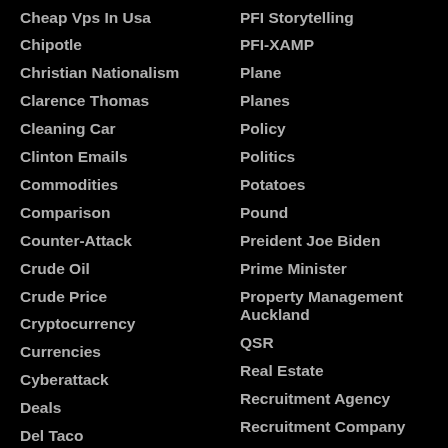Cheap Vps In Usa
Chipotle
Christian Nationalism
Clarence Thomas
Cleaning Car
Clinton Emails
Commodities
Comparison
Counter-Attack
Crude Oil
Crude Price
Cryptocurrency
Currencies
Cyberattack
Deals
Del Taco
Department Of Education
Digital Nomad
PFI Storytelling
PFI-XAMP
Plane
Planes
Policy
Politics
Potatoes
Pound
Preident Joe Biden
Prime Minister
Property Management Auckland
QSR
Real Estate
Recruitment Agency
Recruitment Company
Religion
Remove Dust From Cars